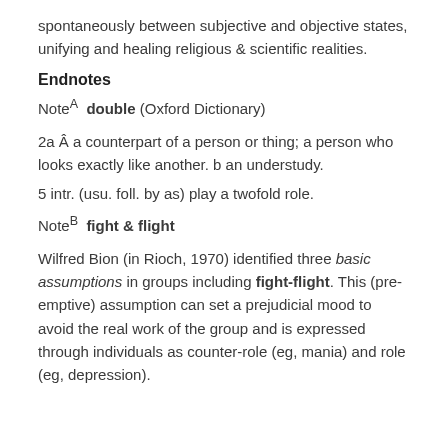spontaneously between subjective and objective states, unifying and healing religious & scientific realities.
Endnotes
Note A  double (Oxford Dictionary)
2a Â a counterpart of a person or thing; a person who looks exactly like another. b an understudy.
5 intr. (usu. foll. by as) play a twofold role.
Note B  fight & flight
Wilfred Bion (in Rioch, 1970) identified three basic assumptions in groups including fight-flight. This (pre-emptive) assumption can set a prejudicial mood to avoid the real work of the group and is expressed through individuals as counter-role (eg, mania) and role (eg, depression).